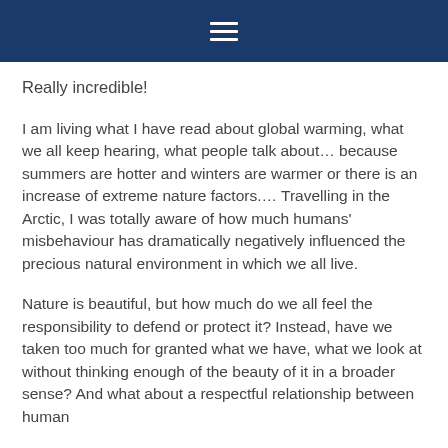☰
Really incredible!
I am living what I have read about global warming, what we all keep hearing, what people talk about… because summers are hotter and winters are warmer or there is an increase of extreme nature factors.… Travelling in the Arctic, I was totally aware of how much humans' misbehaviour has dramatically negatively influenced the precious natural environment in which we all live.
Nature is beautiful, but how much do we all feel the responsibility to defend or protect it? Instead, have we taken too much for granted what we have, what we look at without thinking enough of the beauty of it in a broader sense? And what about a respectful relationship between human